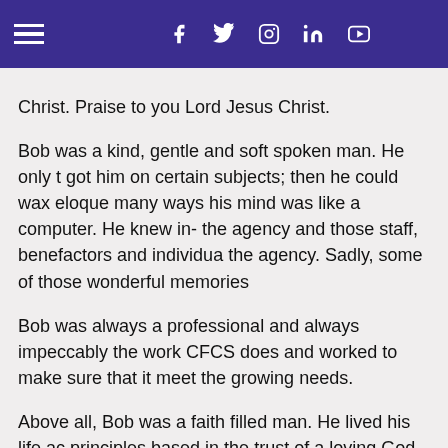Navigation bar with hamburger menu, Facebook, Twitter, Instagram, LinkedIn, YouTube icons
Christ. Praise to you Lord Jesus Christ.
Bob was a kind, gentle and soft spoken man. He only t got him on certain subjects; then he could wax eloque many ways his mind was like a computer. He knew in- the agency and those staff, benefactors and individua the agency. Sadly, some of those wonderful memories
Bob was always a professional and always impeccably the work CFCS does and worked to make sure that it meet the growing needs.
Above all, Bob was a faith filled man. He lived his life ac principles based in the trust of a loving God.